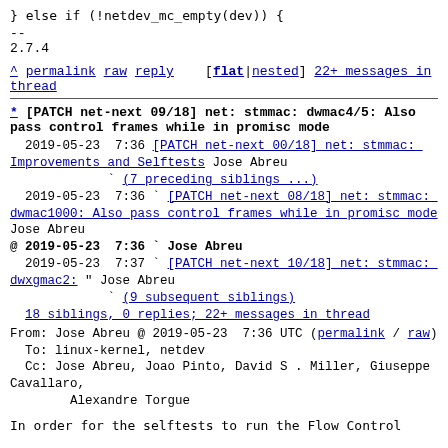} else if (!netdev_mc_empty(dev)) {
--
2.7.4
^ permalink raw reply    [flat|nested] 22+ messages in thread
* [PATCH net-next 09/18] net: stmmac: dwmac4/5: Also pass control frames while in promisc mode
2019-05-23  7:36 [PATCH net-next 00/18] net: stmmac: Improvements and Selftests Jose Abreu
             ` (7 preceding siblings ...)
  2019-05-23  7:36 ` [PATCH net-next 08/18] net: stmmac: dwmac1000: Also pass control frames while in promisc mode Jose Abreu
@ 2019-05-23  7:36 ` Jose Abreu
  2019-05-23  7:37 ` [PATCH net-next 10/18] net: stmmac: dwxgmac2: " Jose Abreu
             ` (9 subsequent siblings)
  18 siblings, 0 replies; 22+ messages in thread
From: Jose Abreu @ 2019-05-23  7:36 UTC (permalink / raw)
  To: linux-kernel, netdev
  Cc: Jose Abreu, Joao Pinto, David S . Miller, Giuseppe Cavallaro,
        Alexandre Torgue
In order for the selftests to run the Flow Control